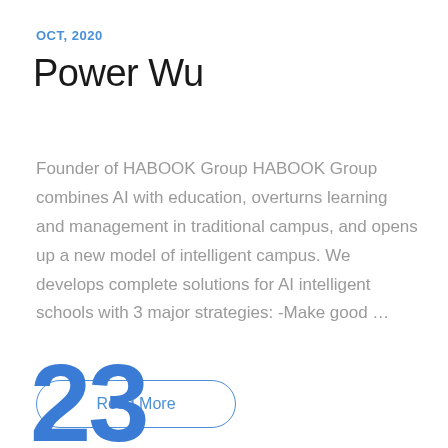OCT, 2020
Power Wu
Founder of HABOOK Group HABOOK Group combines AI with education, overturns learning and management in traditional campus, and opens up a new model of intelligent campus. We develops complete solutions for AI intelligent schools with 3 major strategies: -Make good …
Read More
23